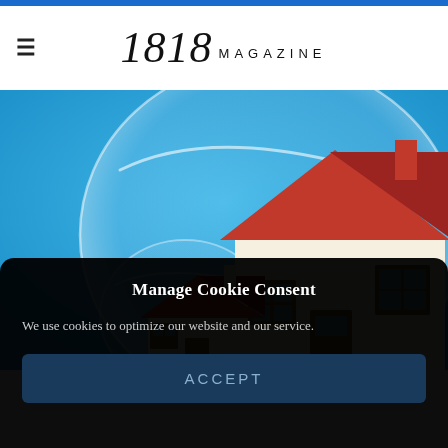1818 MAGAZINE
[Figure (illustration): Two cartoon houses inside soap bubbles floating on a blue background. A large cream-colored house with a red roof and brown door/windows is in a large bubble, and a smaller red-roofed house is in a smaller bubble in the lower left.]
Manage Cookie Consent
We use cookies to optimize our website and our service.
ACCEPT